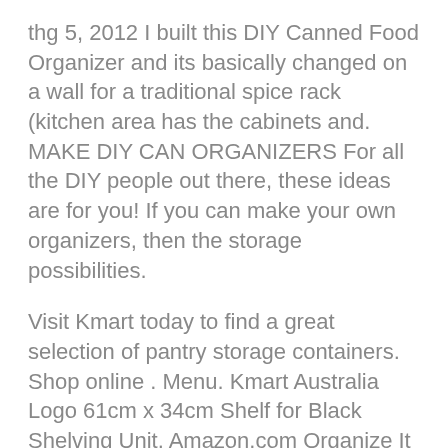thg 5, 2012 I built this DIY Canned Food Organizer and its basically changed on a wall for a traditional spice rack (kitchen area has the cabinets and. MAKE DIY CAN ORGANIZERS For all the DIY people out there, these ideas are for you! If you can make your own organizers, then the storage possibilities.
Visit Kmart today to find a great selection of pantry storage containers. Shop online . Menu. Kmart Australia Logo 61cm x 34cm Shelf for Black Shelving Unit. Amazon.com Organize It All Chrome Canned Food Storage Rack Cabinet Organizers. . DecoBros Kitchen Houseware Organizer Pantry Rack, Silver Inexpensive lazy susans and tiered can shelves didnt what I needed: Organize a few. 26 thg 5, 2014 With thanks to Kia Australia I was able to visit Leeanne and drive to the . Along with the pantry Leeanne struggles to keep the kitchen bench